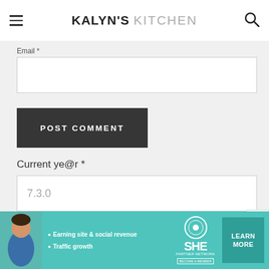KALYN'S KITCHEN
Email *
POST COMMENT
Current ye@r *
7.3.0
[Figure (screenshot): SHE Partner Network advertisement banner with text: Earning site & social revenue, Traffic growth, LEARN MORE button, and a woman's photo on the left.]